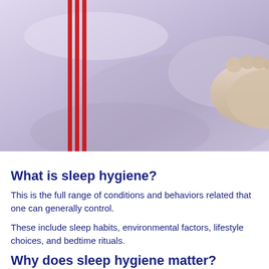[Figure (photo): Photo of a person sleeping, bare feet visible under white bedding, with a bluish-purple tint. Red vertical bars on left side of image.]
What is sleep hygiene?
This is the full range of conditions and behaviors rela... can generally control.
These include sleep habits, environmental factors, lif... bedtime rituals.
Why does sleep hygiene matter?
Sleep hygiene is the first place to look for ways to imp... health. Many problems with sleep can be eradicated b...